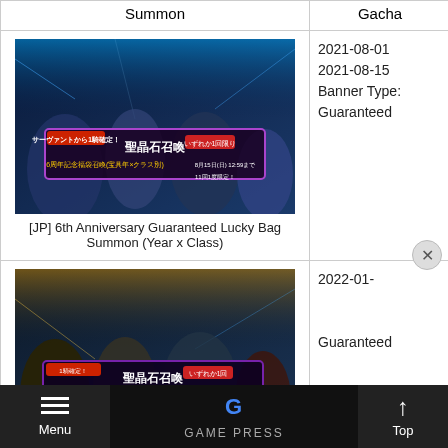| Summon | Gacha |
| --- | --- |
| [JP] 6th Anniversary Guaranteed Lucky Bag Summon (Year x Class) | 2021-08-01
2021-08-15
Banner Type: Guaranteed |
| [JP] New Year 2024 Lucky Bag Summon (NP Type x Class) | 2022-01-...
Guaranteed |